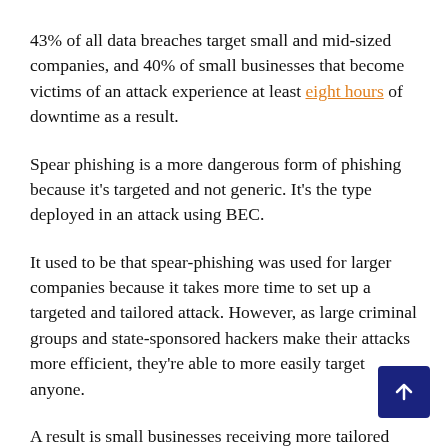43% of all data breaches target small and mid-sized companies, and 40% of small businesses that become victims of an attack experience at least eight hours of downtime as a result.
Spear phishing is a more dangerous form of phishing because it's targeted and not generic. It's the type deployed in an attack using BEC.
It used to be that spear-phishing was used for larger companies because it takes more time to set up a targeted and tailored attack. However, as large criminal groups and state-sponsored hackers make their attacks more efficient, they're able to more easily target anyone.
A result is small businesses receiving more tailored phishing attacks that are harder for their users to identify.